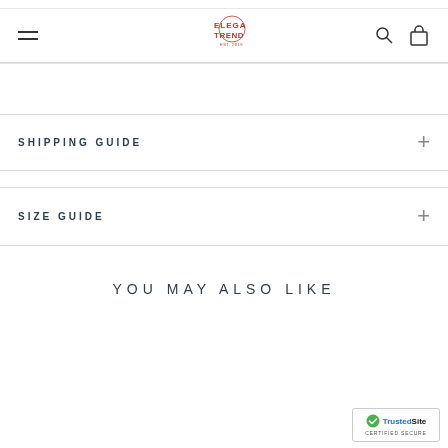ELEGA TREND
SHIPPING GUIDE
SIZE GUIDE
YOU MAY ALSO LIKE
[Figure (logo): TrustedSite Certified Secure badge]